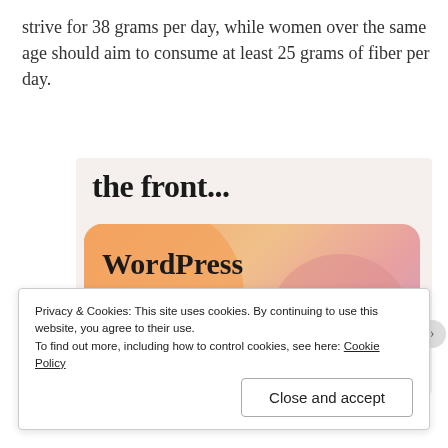strive for 38 grams per day, while women over the same age should aim to consume at least 25 grams of fiber per day.
[Figure (illustration): Advertisement banner showing text 'the front...' above an orange/pink gradient card reading 'WordPress in the back.']
Privacy & Cookies: This site uses cookies. By continuing to use this website, you agree to their use.
To find out more, including how to control cookies, see here: Cookie Policy
Close and accept